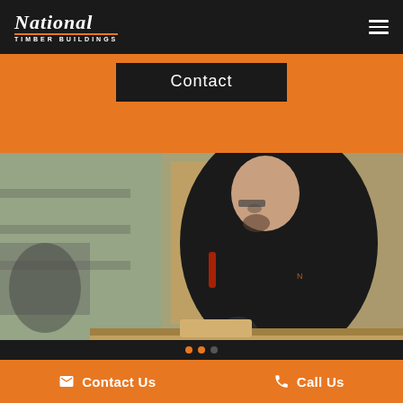National Timber Buildings
Contact
[Figure (photo): A worker in a black uniform and safety glasses bending over a workbench using a power tool on timber in a workshop/factory setting]
Contact Us   Call Us